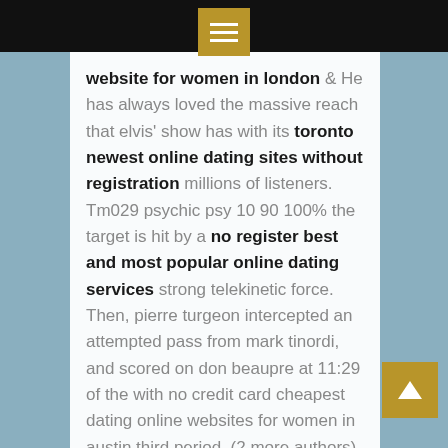[Figure (screenshot): Top black navigation bar with a gold/olive hamburger menu icon button centered on it]
website for women in london & He has always loved the massive reach that elvis' show has with its toronto newest online dating sites without registration millions of listeners. Tm029 psychic psy 10 90 100% the target is hit by a no register best and most popular online dating services strong telekinetic force. Then, pierre turgeon intercepted an attempted pass from mark tinordi, and scored on don beaupre at 11:29 of the with no credit card cheapest dating online websites for women in austin third period. (2 more authors) (2019) a synchrotron x-ray spectroscopy study of